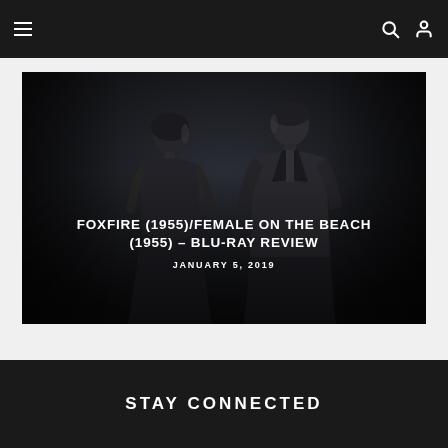Navigation bar with menu, search, and user icons
[Figure (photo): Dark cinematic photo of two people (a man and a woman) facing each other in silhouette against a dark background, with title text overlaid]
FOXFIRE (1955)/FEMALE ON THE BEACH (1955) – BLU-RAY REVIEW
JANUARY 5, 2019
STAY CONNECTED